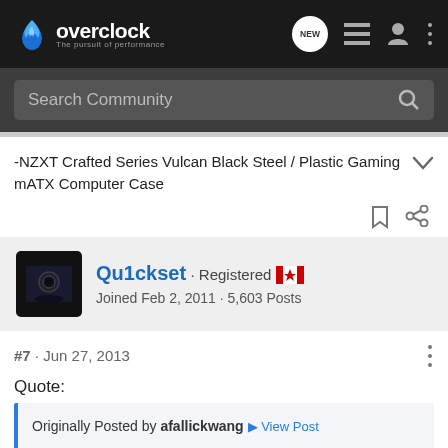overclock · The pursuit of performance
Search Community
-NZXT Crafted Series Vulcan Black Steel / Plastic Gaming mATX Computer Case
Qu1ckset · Registered · Joined Feb 2, 2011 · 5,603 Posts
#7 · Jun 27, 2013
Quote:
Originally Posted by afallickwang View Post